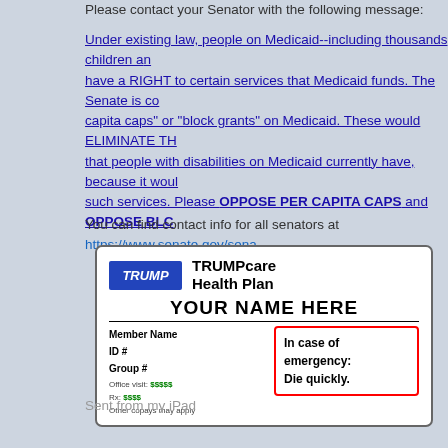Please contact your Senator with the following message:
Under existing law, people on Medicaid--including thousands children and adults with disabilities--have a RIGHT to certain services that Medicaid funds. The Senate is considering "per capita caps" or "block grants" on Medicaid. These would ELIMINATE THE RIGHTS that people with disabilities on Medicaid currently have, because it would no longer pay for such services. Please OPPOSE PER CAPITA CAPS and OPPOSE BLOCK GRANTS.
You can find contact info for all senators at https://www.senate.gov/senators/
[Figure (illustration): Satirical TRUMPcare Health Plan card showing a blue TRUMP badge, card title 'TRUMPcare Health Plan', 'YOUR NAME HERE' name field, Member Name, ID #, Group # fields, office visit and Rx copay amounts shown as dollar signs in green, and a red-bordered box reading 'In case of emergency: Die quickly.']
Sent from my iPad